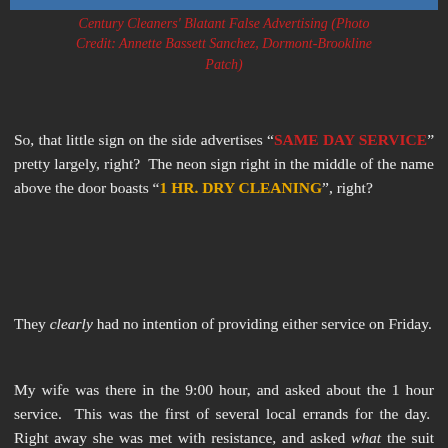Century Cleaners' Blatant False Advertising (Photo Credit: Annette Bassett Sanchez, Dormont-Brookline Patch)
So, that little sign on the side advertises "SAME DAY SERVICE" pretty largely, right?  The neon sign right in the middle of the name above the door boasts "1 HR. DRY CLEANING", right?
They clearly had no intention of providing either service on Friday.
My wife was there in the 9:00 hour, and asked about the 1 hour service.  This was the first of several local errands for the day.  Right away she was met with resistance, and asked what the suit was needed for.  At this point, what does it matter?  Whether it's needed for a job interview, a funeral, a wedding, a TV appearance, for first contact with aliens at midnight, or just lounging around the house… urgent completion was requested.